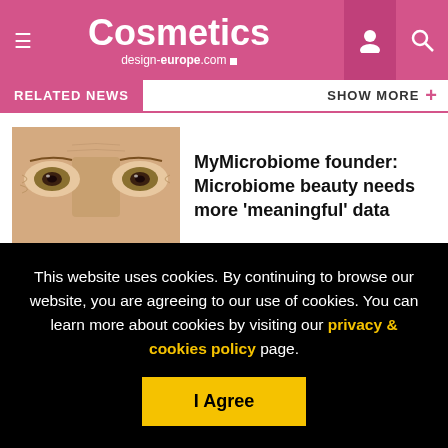Cosmetics design-europe.com
RELATED NEWS   SHOW MORE +
[Figure (photo): Close-up of a woman's eyes showing skin texture and wrinkles]
MyMicrobiome founder: Microbiome beauty needs more ‘meaningful’ data
[Figure (photo): Portrait of a woman with dark skin touching her face]
Demands rising for clinical data on the skin microbiome: Experts
This website uses cookies. By continuing to browse our website, you are agreeing to our use of cookies. You can learn more about cookies by visiting our privacy & cookies policy page.
I Agree